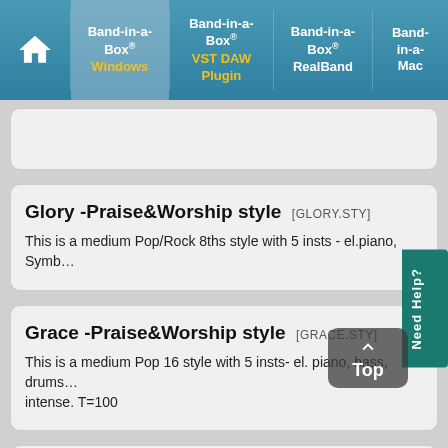Band-in-a-Box Windows | Band-in-a-Box VST DAW Plugin | Band-in-a-Box RealBand | Band-in-a-Box Mac
Glory -Praise&Worship style [GLORY.STY]
This is a medium Pop/Rock 8ths style with 5 insts - el.piano, Synb...
Grace -Praise&Worship style [GRACE.STY]
This is a medium Pop 16 style with 5 insts- el. piano, bass, drums... intense. T=100
Haleluia -Praise&Worship style [HALELUIA.STY]
Soft Pop medium tempo with 5 insts - piano arps., bass, guitar... backbeat & strat guitar added. T=100